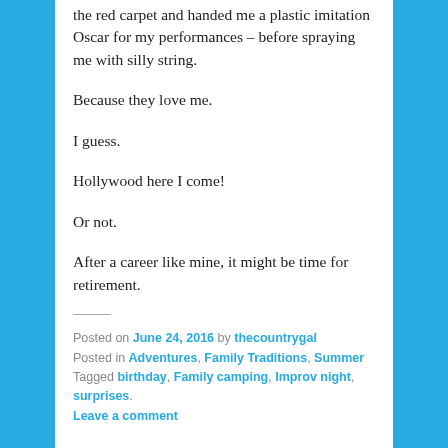the red carpet and handed me a plastic imitation Oscar for my performances – before spraying me with silly string.
Because they love me.
I guess.
Hollywood here I come!
Or not.
After a career like mine, it might be time for retirement.
Posted on June 24, 2016 by thecountrygal
Posted in Adventures, Family Traditions, Summer
Tagged birthday, Family camping, Improv night, surprises.
Leave a comment